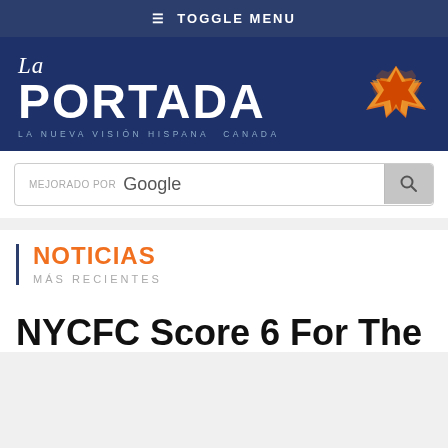≡ TOGGLE MENU
[Figure (logo): La Portada Canada logo — white serif text on dark navy background with maple leaf graphic in orange and gold. Tagline: LA NUEVA VISIÓN HISPANA / CANADA]
[Figure (screenshot): Google custom search bar reading 'MEJORADO POR Google' with a search button]
NOTICIAS
MÁS RECIENTES
NYCFC Score 6 For The